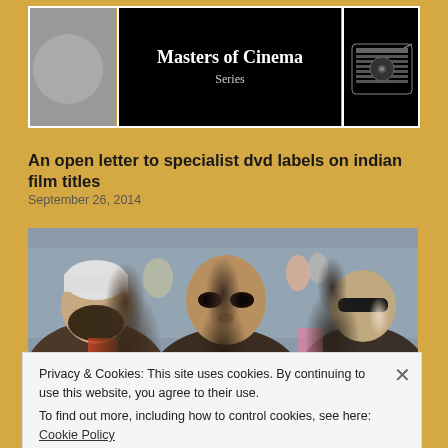[Figure (illustration): Top banner with three sections: left gray section with circular logo, center black section with 'Masters of Cinema Series' text in white, right black section with vinyl/record graphic icon]
An open letter to specialist dvd labels on indian film titles
September 26, 2014
[Figure (photo): Street scene photograph showing three men in a crowded urban Indian setting. Central figure is a young man with dark circles under his eyes staring intensely at camera, flanked by a bearded man in a white cap on the left and a bald man with sunglasses on the right.]
Privacy & Cookies: This site uses cookies. By continuing to use this website, you agree to their use.
To find out more, including how to control cookies, see here: Cookie Policy